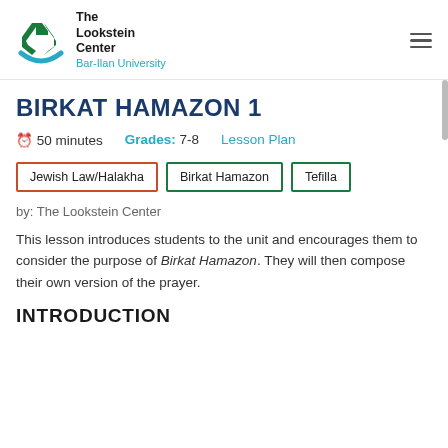The Lookstein Center Bar-Ilan University
BIRKAT HAMAZON 1
50 minutes   Grades: 7-8   Lesson Plan
Jewish Law/Halakha   Birkat Hamazon   Tefilla
by: The Lookstein Center
This lesson introduces students to the unit and encourages them to consider the purpose of Birkat Hamazon. They will then compose their own version of the prayer.
INTRODUCTION